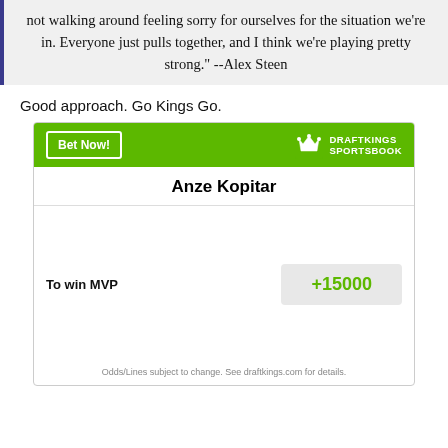not walking around feeling sorry for ourselves for the situation we're in. Everyone just pulls together, and I think we're playing pretty strong." --Alex Steen
Good approach. Go Kings Go.
[Figure (other): DraftKings Sportsbook betting widget showing Anze Kopitar To win MVP odds of +15000]
Odds/Lines subject to change. See draftkings.com for details.